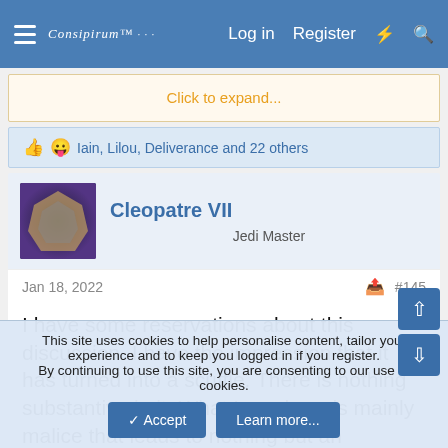Consipirum™  Log in  Register
Click to expand...
👍 😛 Iain, Lilou, Deliverance and 22 others
Cleopatre VII
Jedi Master
Jan 18, 2022   #145
I have some reservations about this discussion. I have the impression that it has turned into a scuffle. There is nothing substantive in it. What I see here is mainly malice that leads to nothing but an escalation of the conflict.
This site uses cookies to help personalise content, tailor your experience and to keep you logged in if you register.
By continuing to use this site, you are consenting to our use of cookies.
Accept  Learn more...